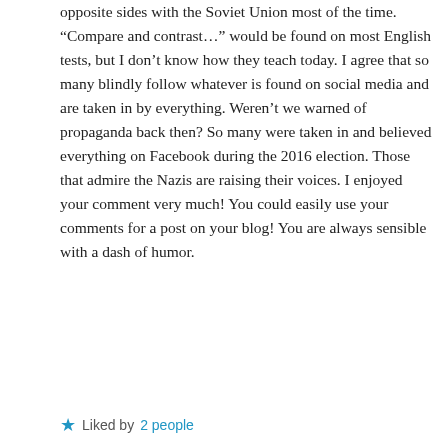opposite sides with the Soviet Union most of the time. “Compare and contrast…” would be found on most English tests, but I don’t know how they teach today. I agree that so many blindly follow whatever is found on social media and are taken in by everything. Weren’t we warned of propaganda back then? So many were taken in and believed everything on Facebook during the 2016 election. Those that admire the Nazis are raising their voices. I enjoyed your comment very much! You could easily use your comments for a post on your blog! You are always sensible with a dash of humor.
★ Liked by 2 people